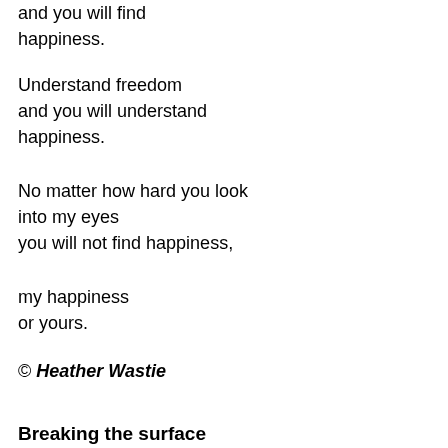and you will find
happiness.
Understand freedom
and you will understand
happiness.
No matter how hard you look
into my eyes
you will not find happiness,
my happiness
or yours.
© Heather Wastie
Breaking the surface